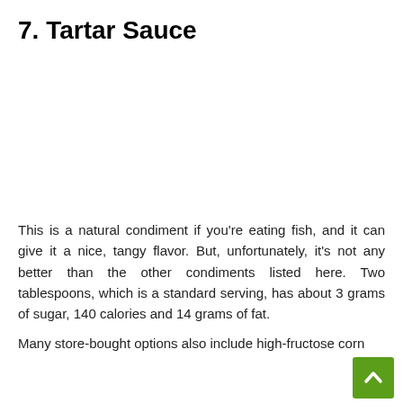7. Tartar Sauce
[Figure (photo): Image placeholder area for Tartar Sauce photo]
This is a natural condiment if you're eating fish, and it can give it a nice, tangy flavor. But, unfortunately, it's not any better than the other condiments listed here. Two tablespoons, which is a standard serving, has about 3 grams of sugar, 140 calories and 14 grams of fat.
Many store-bought options also include high-fructose corn